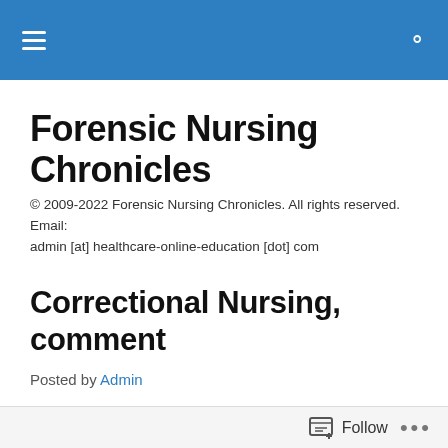Forensic Nursing Chronicles — navigation bar with menu and search icons
Forensic Nursing Chronicles
© 2009-2022 Forensic Nursing Chronicles. All rights reserved. Email: admin [at] healthcare-online-education [dot] com
Correctional Nursing, comment
Posted by Admin
I have to agree with the author on the view that some correctional nurses do not treat the inmates as they would a patient in a healthcare setting. The prison population in
Follow